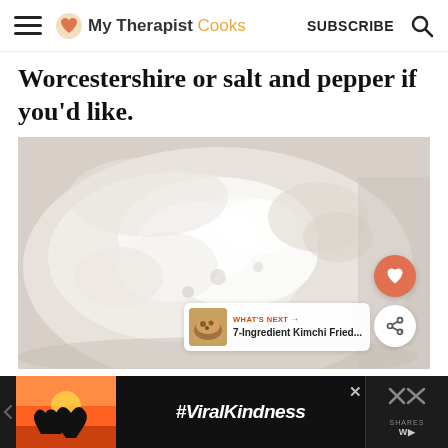My Therapist Cooks — SUBSCRIBE
Worcestershire or salt and pepper if you'd like.
[Figure (photo): Close-up photo of white creamy chicken or cauliflower dish in a bowl, with floating heart and share buttons, and a 'What's Next' card showing 7-Ingredient Kimchi Fried... recipe]
#ViralKindness